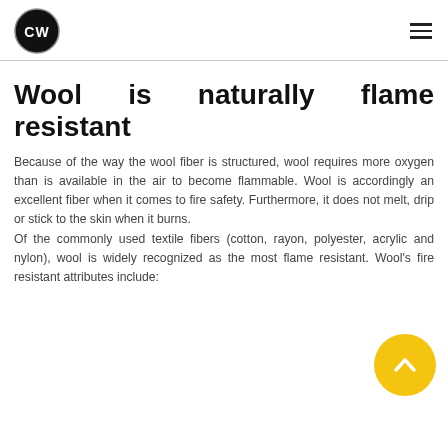CW logo and hamburger menu
Wool is naturally flame resistant
Because of the way the wool fiber is structured, wool requires more oxygen than is available in the air to become flammable. Wool is accordingly an excellent fiber when it comes to fire safety. Furthermore, it does not melt, drip or stick to the skin when it burns.
Of the commonly used textile fibers (cotton, rayon, polyester, acrylic and nylon), wool is widely recognized as the most flame resistant. Wool's fire resistant attributes include: